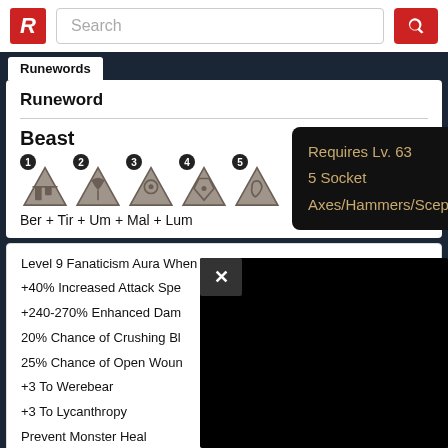Search
Runewords
Runeword
Beast
Ber + Tir + Um + Mal + Lum
Requires Lv. 63
5 Socket
Axes/Hammers/Scepters
Level 9 Fanaticism Aura When Equipped
+40% Increased Attack Speed
+240-270% Enhanced Damage
20% Chance of Crushing Blow
25% Chance of Open Wounds
+3 To Werebear
+3 To Lycanthropy
Prevent Monster Heal
+25-40 To Strength
+10 To Energy